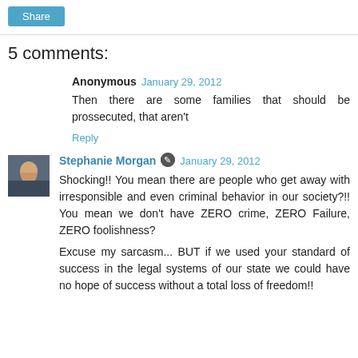Share
5 comments:
Anonymous  January 29, 2012
Then there are some families that should be prossecuted, that aren't
Reply
Stephanie Morgan  January 29, 2012
Shocking!! You mean there are people who get away with irresponsible and even criminal behavior in our society?!! You mean we don't have ZERO crime, ZERO Failure, ZERO foolishness?

Excuse my sarcasm... BUT if we used your standard of success in the legal systems of our state we could have no hope of success without a total loss of freedom!!